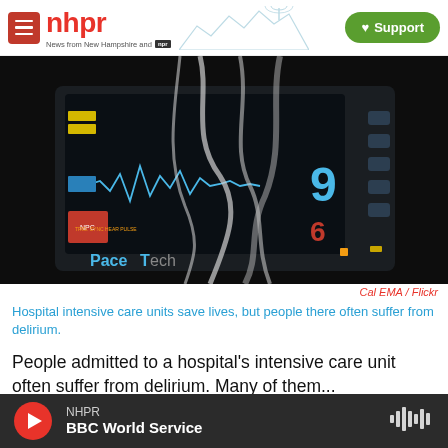nhpr — News from New Hampshire and NPR | Support
[Figure (photo): Close-up of a medical ICU monitor (PaceTech brand) showing ECG waveform trace, numerical readings, and multiple cables/tubes in foreground against dark background.]
Cal EMA / Flickr
Hospital intensive care units save lives, but people there often suffer from delirium.
People admitted to a hospital's intensive care unit often suffer from delirium. Many of them...
NHPR — BBC World Service